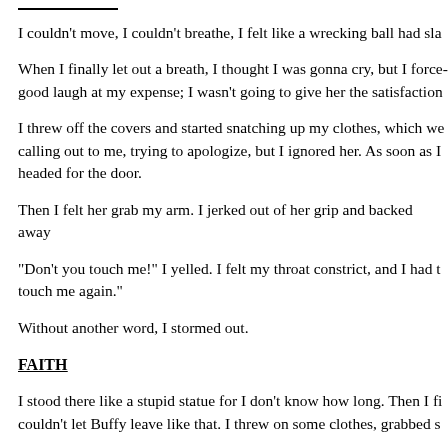I couldn't move, I couldn't breathe, I felt like a wrecking ball had sla
When I finally let out a breath, I thought I was gonna cry, but I forced good laugh at my expense; I wasn't going to give her the satisfaction
I threw off the covers and started snatching up my clothes, which we calling out to me, trying to apologize, but I ignored her. As soon as I headed for the door.
Then I felt her grab my arm. I jerked out of her grip and backed away
“Don’t you touch me!” I yelled. I felt my throat constrict, and I had t touch me again.”
Without another word, I stormed out.
FAITH
I stood there like a stupid statue for I don’t know how long. Then I fi couldn’t let Buffy leave like that. I threw on some clothes, grabbed s
She was near Main Street by the time I reached her. As soon as I cam she beat me to it.
“Go away!” she barked. She didn’t even look at me as she said it: she